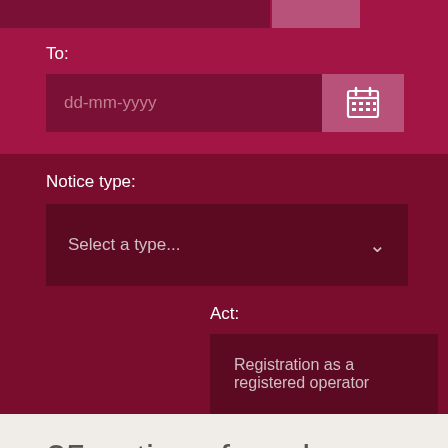[Figure (screenshot): Top bar with dark red and pink/mauve colored blocks at top of page]
To:
[Figure (screenshot): Date input field showing 'dd-mm-yyyy' placeholder with calendar icon button]
Notice type:
[Figure (screenshot): Dropdown select input showing 'Select a type...' with chevron/arrow icon]
Act:
Registration as a registered operator
25 notices found under